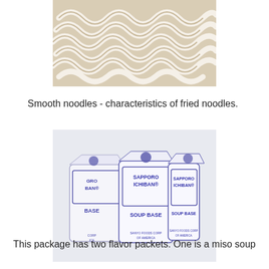[Figure (photo): Close-up photo of white ramen noodles showing their smooth, coiled texture — characteristic of fried noodles.]
Smooth noodles - characteristics of fried noodles.
[Figure (photo): Photo of Sapporo Ichiban soup base flavor packets — three white packets labeled 'SAPPORO ICHIBAN SOUP BASE' by Sanyo Foods Corp of America.]
This package has two flavor packets. One is a miso soup